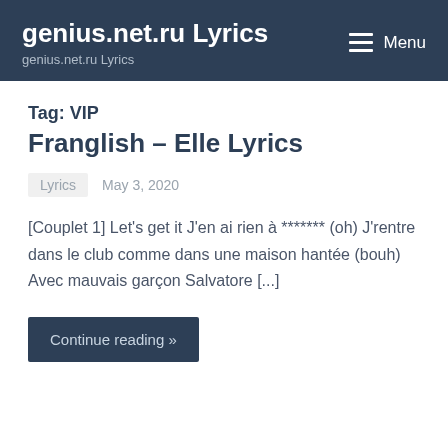genius.net.ru Lyrics
genius.net.ru Lyrics
Tag: VIP
Franglish – Elle Lyrics
Lyrics   May 3, 2020
[Couplet 1] Let's get it J'en ai rien à ******* (oh) J'rentre dans le club comme dans une maison hantée (bouh) Avec mauvais garçon Salvatore [...]
Continue reading »